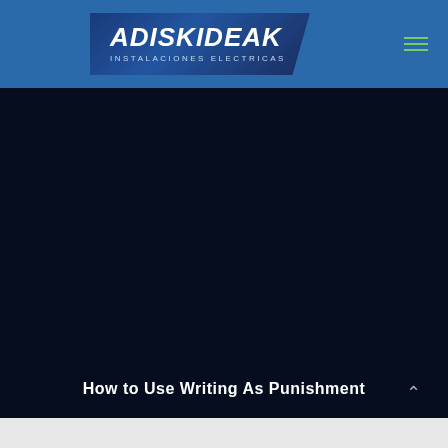[Figure (logo): Adiskideak Instalaciones Electricas logo with blue background and italic bold white text]
How to Use Writing As Punishment